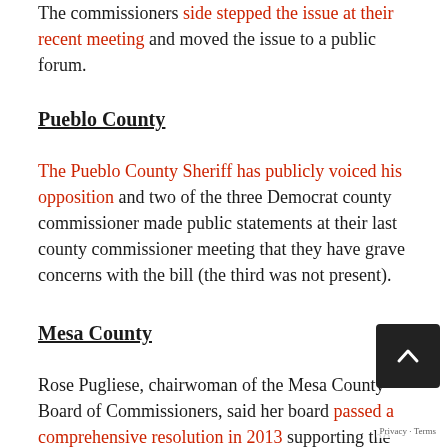The commissioners side stepped the issue at their recent meeting and moved the issue to a public forum.
Pueblo County
The Pueblo County Sheriff has publicly voiced his opposition and two of the three Democrat county commissioner made public statements at their last county commissioner meeting that they have grave concerns with the bill (the third was not present).
Mesa County
Rose Pugliese, chairwoman of the Mesa County Board of Commissioners, said her board passed a comprehensive resolution in 2013 supporting the Second Amendment and she plans to present the